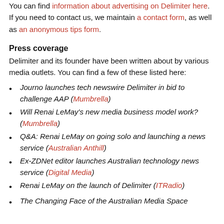You can find information about advertising on Delimiter here. If you need to contact us, we maintain a contact form, as well as an anonymous tips form.
Press coverage
Delimiter and its founder have been written about by various media outlets. You can find a few of these listed here:
Journo launches tech newswire Delimiter in bid to challenge AAP (Mumbrella)
Will Renai LeMay's new media business model work? (Mumbrella)
Q&A: Renai LeMay on going solo and launching a news service (Australian Anthill)
Ex-ZDNet editor launches Australian technology news service (Digital Media)
Renai LeMay on the launch of Delimiter (ITRadio)
The Changing Face of the Australian Media Space